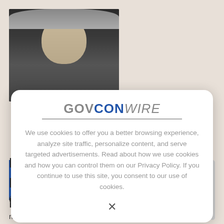[Figure (photo): Profile photo of Andy Green, a man with grey hair smiling, alongside the HII logo and name/title information]
Andy Green
Executive Vice President of HII
President of HII's Mission Technologies Division
[Figure (screenshot): GovConWire cookie consent modal dialog overlaying the page background]
We use cookies to offer you a better browsing experience, analyze site traffic, personalize content, and serve targeted advertisements. Read about how we use cookies and how you can control them on our Privacy Policy. If you continue to use this site, you consent to our use of cookies.